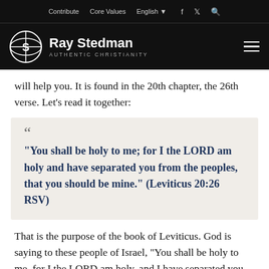Contribute   Core Values   English   [social icons]
Ray Stedman AUTHENTIC CHRISTIANITY
will help you. It is found in the 20th chapter, the 26th verse. Let's read it together:
"You shall be holy to me; for I the LORD am holy and have separated you from the peoples, that you should be mine." (Leviticus 20:26 RSV)
That is the purpose of the book of Leviticus. God is saying to these people of Israel, "You shall be holy to me, for I the LORD am holy, and I have separated you from all the nations around you in order that you